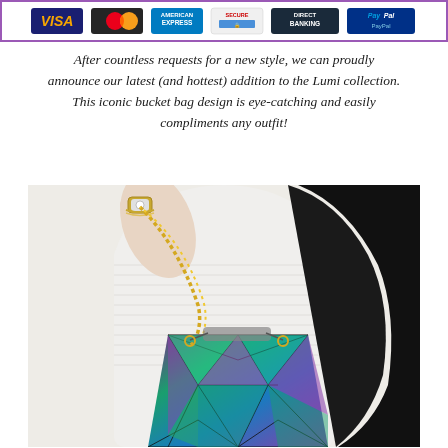[Figure (other): Payment method icons banner: Visa, Mastercard, American Express, Secure, Direct Banking, PayPal — inside a purple-bordered rectangle]
After countless requests for a new style, we can proudly announce our latest (and hottest) addition to the Lumi collection. This iconic bucket bag design is eye-catching and easily compliments any outfit!
[Figure (photo): A woman wearing a white ribbed top carrying a holographic iridescent geometric bucket bag with a gold chain strap. She has long black hair. The bag has a triangular/diamond faceted pattern with rainbow-like colors (purple, green, teal, pink). The background is light/cream colored.]